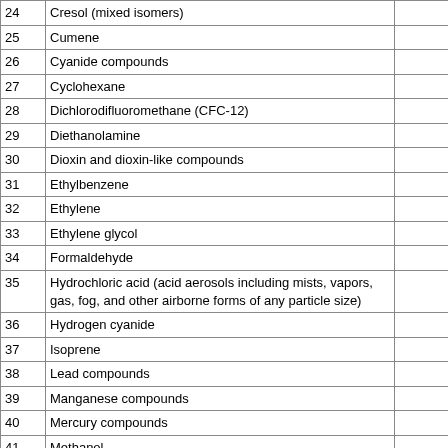| # | Chemical Name |  |
| --- | --- | --- |
| 24 | Cresol (mixed isomers) |  |
| 25 | Cumene |  |
| 26 | Cyanide compounds |  |
| 27 | Cyclohexane |  |
| 28 | Dichlorodifluoromethane (CFC-12) |  |
| 29 | Diethanolamine |  |
| 30 | Dioxin and dioxin-like compounds |  |
| 31 | Ethylbenzene |  |
| 32 | Ethylene |  |
| 33 | Ethylene glycol |  |
| 34 | Formaldehyde |  |
| 35 | Hydrochloric acid (acid aerosols including mists, vapors, gas, fog, and other airborne forms of any particle size) |  |
| 36 | Hydrogen cyanide |  |
| 37 | Isoprene |  |
| 38 | Lead compounds |  |
| 39 | Manganese compounds |  |
| 40 | Mercury compounds |  |
| 41 | Methanol |  |
| 42 | Methyl tert-butyl ether |  |
| 43 | Molybdenum trioxide |  |
| 44 | Naphthalene |  |
| 45 | Nickel compounds |  |
| 46 | Nitrate compounds (water dissociable; reportable only when in |  |